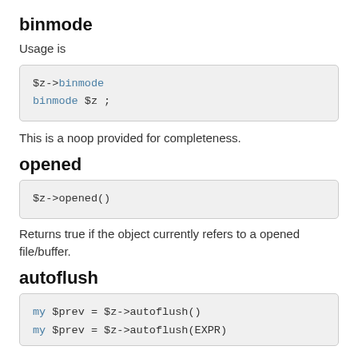binmode
Usage is
$z->binmode
binmode $z ;
This is a noop provided for completeness.
opened
$z->opened()
Returns true if the object currently refers to a opened file/buffer.
autoflush
my $prev = $z->autoflush()
my $prev = $z->autoflush(EXPR)